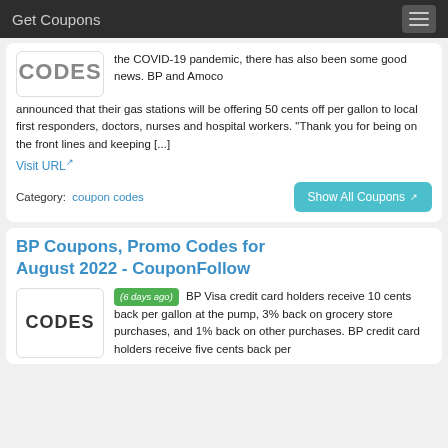Get Coupons
the COVID-19 pandemic, there has also been some good news. BP and Amoco announced that their gas stations will be offering 50 cents off per gallon to local first responders, doctors, nurses and hospital workers. "Thank you for being on the front lines and keeping [...]
Visit URL
Category:  coupon codes
Show All Coupons
BP Coupons, Promo Codes for August 2022 - CouponFollow
(6 days ago) BP Visa credit card holders receive 10 cents back per gallon at the pump, 3% back on grocery store purchases, and 1% back on other purchases. BP credit card holders receive five cents back per